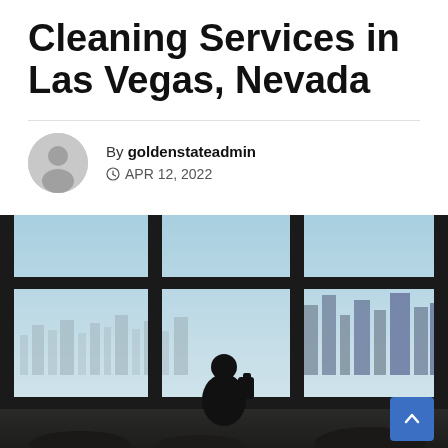Cleaning Services in Las Vegas, Nevada
By goldenstateadmin
APR 12, 2022
[Figure (photo): Silhouette of a person with a backpack standing in front of large floor-to-ceiling windows overlooking a city skyline at dusk, viewed from a high-rise building interior. A blue scroll-to-top button appears in the bottom right corner.]